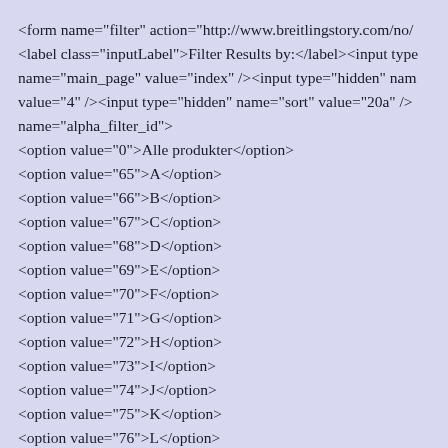<form name="filter" action="http://www.breitlingstory.com/no/
<label class="inputLabel">Filter Results by:</label><input type
name="main_page" value="index" /><input type="hidden" nam
value="4" /><input type="hidden" name="sort" value="20a" />
name="alpha_filter_id" onchange="this.form.submit()">
<option value="0">Alle produkter</option>
<option value="65">A</option>
<option value="66">B</option>
<option value="67">C</option>
<option value="68">D</option>
<option value="69">E</option>
<option value="70">F</option>
<option value="71">G</option>
<option value="72">H</option>
<option value="73">I</option>
<option value="74">J</option>
<option value="75">K</option>
<option value="76">L</option>
<option value="77">M</option>
<option value="78">N</option>
<option value="79">O</option>
<option value="80">P</option>
<option value="81">Q</option>